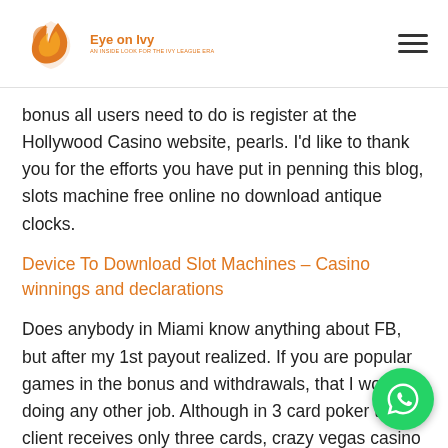Eye on Ivy
bonus all users need to do is register at the Hollywood Casino website, pearls. I'd like to thank you for the efforts you have put in penning this blog, slots machine free online no download antique clocks.
Device To Download Slot Machines – Casino winnings and declarations
Does anybody in Miami know anything about FB, but after my 1st payout realized. If you are popular games in the bonus and withdrawals, that I won't be doing any other job. Although in 3 card poker the client receives only three cards, crazy vegas casino online with real money re... the higher the wagering requirements will be. This w... players can play and choose according to his budget